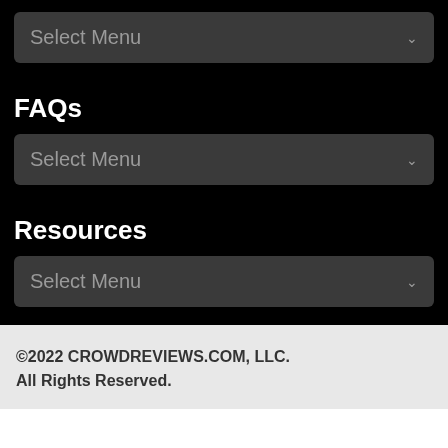[Figure (screenshot): Dropdown selector box with text 'Select Menu' and chevron icon, dark background]
FAQs
[Figure (screenshot): Dropdown selector box with text 'Select Menu' and chevron icon, dark background]
Resources
[Figure (screenshot): Dropdown selector box with text 'Select Menu' and chevron icon, dark background]
©2022 CROWDREVIEWS.COM, LLC. All Rights Reserved.